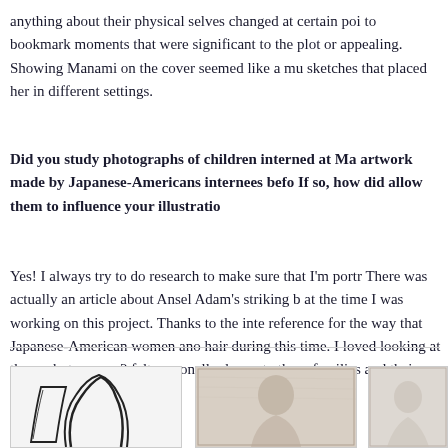anything about their physical selves changed at certain poi to bookmark moments that were significant to the plot or appealing. Showing Manami on the cover seemed like a mu sketches that placed her in different settings.
Did you study photographs of children interned at Ma artwork made by Japanese-Americans internees befo If so, how did allow them to influence your illustratio
Yes! I always try to do research to make sure that I'm portr There was actually an article about Ansel Adam's striking b at the time I was working on this project. Thanks to the inte reference for the way that Japanese-American women ano hair during this time. I loved looking at those photos; as a 2 felt personally drawn to these families and their struggles.
[Figure (illustration): Sketch illustration of a figure, line drawing style, black and white]
[Figure (photo): Sepia-toned photograph, appears to show a person]
[Figure (photo): Partial photo or illustration, cropped at right edge]